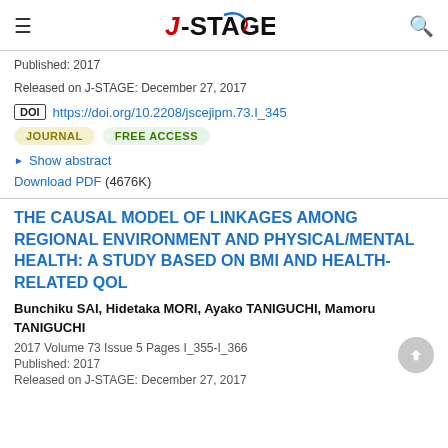J-STAGE
Published: 2017
Released on J-STAGE: December 27, 2017
DOI https://doi.org/10.2208/jscejipm.73.I_345
JOURNAL  FREE ACCESS
Show abstract
Download PDF (4676K)
THE CAUSAL MODEL OF LINKAGES AMONG REGIONAL ENVIRONMENT AND PHYSICAL/MENTAL HEALTH: A STUDY BASED ON BMI AND HEALTH-RELATED QOL
Bunchiku SAI, Hidetaka MORI, Ayako TANIGUCHI, Mamoru TANIGUCHI
2017 Volume 73 Issue 5 Pages I_355-I_366
Published: 2017
Released on J-STAGE: December 27, 2017